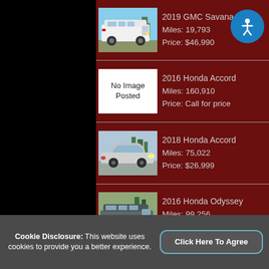2019 GMC Savana
Miles: 19,793
Price: $46,990
2016 Honda Accord
Miles: 160,910
Price: Call for price
2018 Honda Accord
Miles: 75,022
Price: $26,999
2016 Honda Odyssey
Miles: 99,256
Price: $24,499
Cookie Disclosure: This website uses cookies to provide you a better experience.
Click Here To Agree